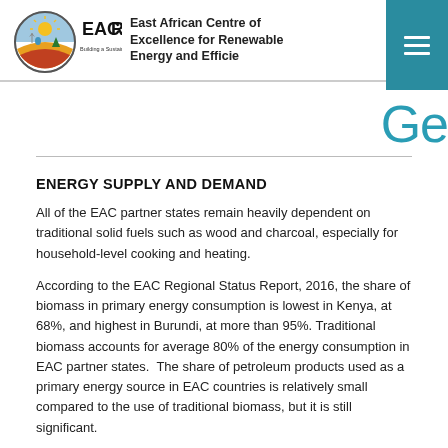[Figure (logo): EACREEE logo with circular emblem and text 'Building a Sustainable Energy Future']
East African Centre of Excellence for Renewable Energy and Efficiency
Ge…
ENERGY SUPPLY AND DEMAND
All of the EAC partner states remain heavily dependent on traditional solid fuels such as wood and charcoal, especially for household-level cooking and heating.
According to the EAC Regional Status Report, 2016, the share of biomass in primary energy consumption is lowest in Kenya, at 68%, and highest in Burundi, at more than 95%. Traditional biomass accounts for average 80% of the energy consumption in EAC partner states.  The share of petroleum products used as a primary energy source in EAC countries is relatively small compared to the use of traditional biomass, but it is still significant.